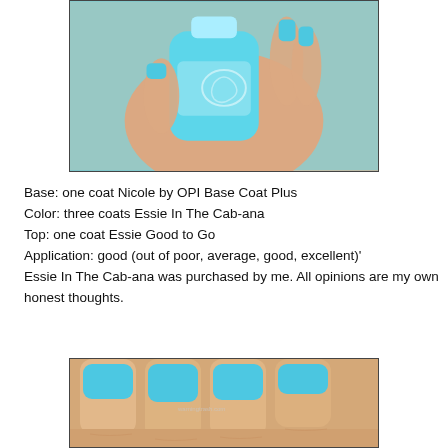[Figure (photo): Close-up photo of a hand holding a turquoise/teal nail polish bottle (Essie In The Cab-ana), with nails painted the same bright turquoise color visible in the background]
Base: one coat Nicole by OPI Base Coat Plus
Color: three coats Essie In The Cab-ana
Top: one coat Essie Good to Go
Application: good (out of poor, average, good, excellent)'
Essie In The Cab-ana was purchased by me. All opinions are my own honest thoughts.
[Figure (photo): Close-up photo of a hand showing four fingers with bright turquoise/teal painted nails (Essie In The Cab-ana), viewed from above]